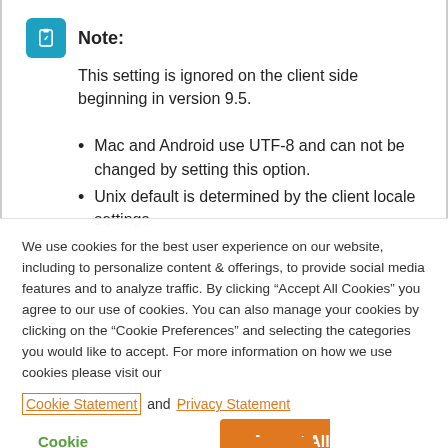Note: This setting is ignored on the client side beginning in version 9.5.
Mac and Android use UTF-8 and can not be changed by setting this option.
Unix default is determined by the client locale settings.
We use cookies for the best user experience on our website, including to personalize content & offerings, to provide social media features and to analyze traffic. By clicking “Accept All Cookies” you agree to our use of cookies. You can also manage your cookies by clicking on the “Cookie Preferences” and selecting the categories you would like to accept. For more information on how we use cookies please visit our Cookie Statement and Privacy Statement
Cookie Preferences
Accept All Cookies